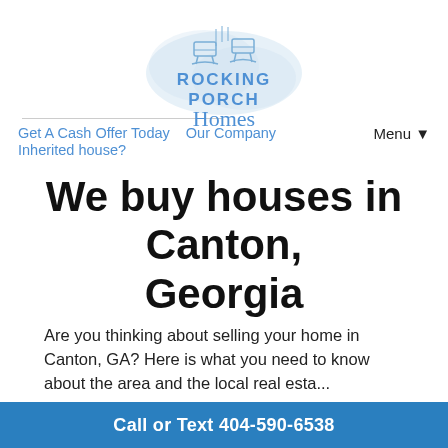[Figure (logo): Rocking Porch Homes logo with rocking chairs illustration and blue watercolor background, text: ROCKING PORCH Homes]
Get A Cash Offer Today   Our Company   Inherited house?   Menu ▼
We buy houses in Canton, Georgia
Are you thinking about selling your home in Canton, GA? Here is what you need to know about the area and the local real estate...
Call or Text 404-590-6538